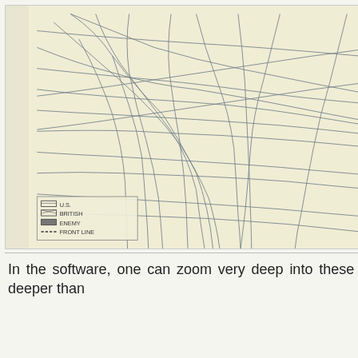[Figure (map): Historical military map showing road networks, with legend indicating US, British, Enemy forces and Front Line markings. Yellowed paper style with hand-drawn road and boundary lines.]
In the software, one can zoom very deep into these maps, deeper than
Carpe Diem
Cato Institute
Cato-at-liberty
Climate Skeptic
Contact Your Congressman
Dave Barry
Disloyal Opposition
Dispatches from TJICistan
Doublethink
Engadget
Equal Marriage Arizona
Espresso Pundit
FactCheck.org
Finem Respice
Football Outsiders
Gizmodo
Graphic Design and Art
Handbags and Purses by Kate Groves
Hit and Run
Home Theater Blog
Houston Clear Thinkers